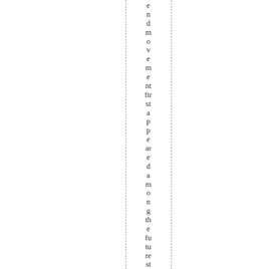endmovement first appeared among the future st